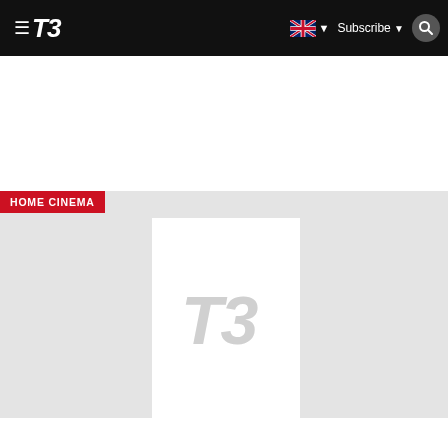T3 — HOME CINEMA
HOME CINEMA
[Figure (logo): T3 magazine logo placeholder image on light gray background]